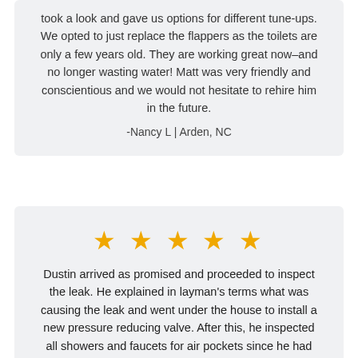took a look and gave us options for different tune-ups. We opted to just replace the flappers as the toilets are only a few years old. They are working great now–and no longer wasting water! Matt was very friendly and conscientious and we would not hesitate to rehire him in the future.
-Nancy L | Arden, NC
[Figure (other): Five gold/orange star rating icons]
Dustin arrived as promised and proceeded to inspect the leak. He explained in layman's terms what was causing the leak and went under the house to install a new pressure reducing valve. After this, he inspected all showers and faucets for air pockets since he had shut off the water in the house while performing the replacement. I signed a one-year service contract and received a 15% discount on the